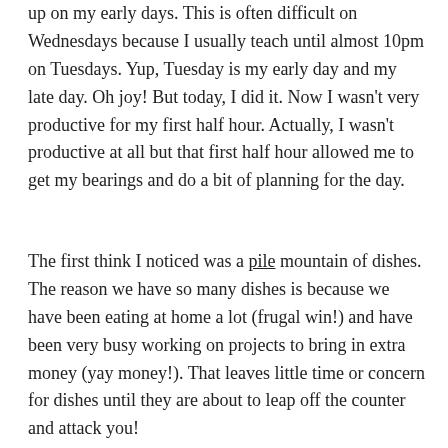up on my early days. This is often difficult on Wednesdays because I usually teach until almost 10pm on Tuesdays. Yup, Tuesday is my early day and my late day. Oh joy! But today, I did it. Now I wasn't very productive for my first half hour. Actually, I wasn't productive at all but that first half hour allowed me to get my bearings and do a bit of planning for the day.
The first think I noticed was a pile mountain of dishes. The reason we have so many dishes is because we have been eating at home a lot (frugal win!) and have been very busy working on projects to bring in extra money (yay money!). That leaves little time or concern for dishes until they are about to leap off the counter and attack you!